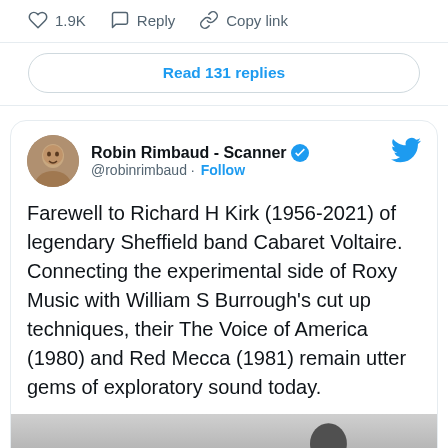[Figure (screenshot): Twitter/social media interface showing action bar with heart icon, 1.9K likes, Reply button, and Copy link button]
Read 131 replies
Robin Rimbaud - Scanner @robinrimbaud · Follow
Farewell to Richard H Kirk (1956-2021) of legendary Sheffield band Cabaret Voltaire. Connecting the experimental side of Roxy Music with William S Burrough's cut up techniques, their The Voice of America (1980) and Red Mecca (1981) remain utter gems of exploratory sound today.
[Figure (photo): Black and white photo preview at bottom of tweet, partially visible, showing a figure]